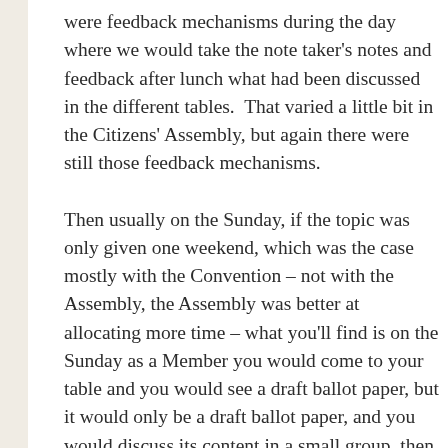were feedback mechanisms during the day where we would take the note taker's notes and feedback after lunch what had been discussed in the different tables.  That varied a little bit in the Citizens' Assembly, but again there were still those feedback mechanisms.
Then usually on the Sunday, if the topic was only given one weekend, which was the case mostly with the Convention – not with the Assembly, the Assembly was better at allocating more time – what you'll find is on the Sunday as a Member you would come to your table and you would see a draft ballot paper, but it would only be a draft ballot paper, and you would discuss its content in a small group, then feedback.  An awful lot of deliberation went on on the ballot papers